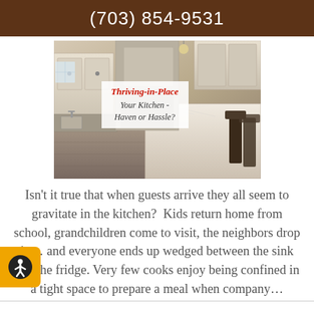(703) 854-9531
[Figure (photo): Photo of a luxury kitchen interior with white/grey cabinetry, marble island countertop, and bar stools. Overlay text reads 'Thriving-in-Place / Your Kitchen - Haven or Hassle?']
Isn't it true that when guests arrive they all seem to gravitate in the kitchen?  Kids return home from school, grandchildren come to visit, the neighbors drop in... and everyone ends up wedged between the sink and the fridge. Very few cooks enjoy being confined in a tight space to prepare a meal when company...